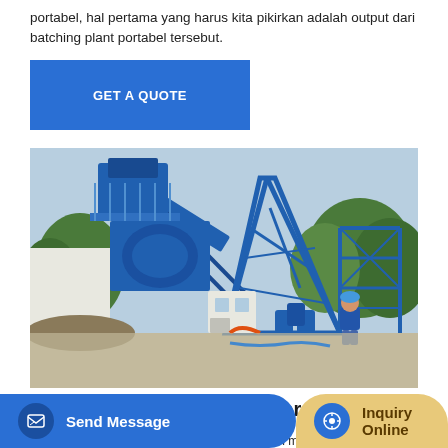portabel, hal pertama yang harus kita pikirkan adalah output dari batching plant portabel tersebut.
[Figure (other): Blue 'GET A QUOTE' button]
[Figure (photo): Photo of a large blue portable batching plant (concrete mixing equipment) on a construction site with a worker in blue standing nearby]
Dijual Batching Plant Trailler Wet Mix | Rental & jual
masin bisa nego. Spesifikasi : - Gearbox 2 puan merk pontioli.
[Figure (other): Send Message button (blue, bottom left)]
[Figure (other): Inquiry Online button (tan/gold, bottom right)]